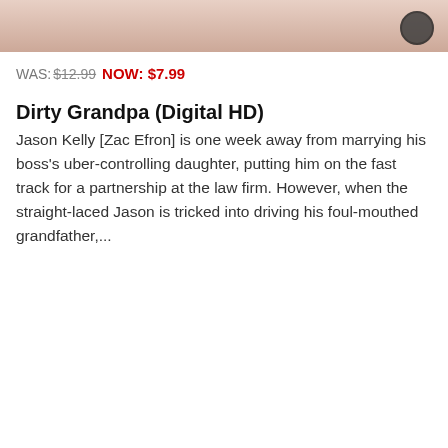[Figure (photo): Top portion of a movie promotional image with pink/mauve background tones and a circular icon in the bottom-right corner]
WAS: $12.99 NOW: $7.99
Dirty Grandpa (Digital HD)
Jason Kelly [Zac Efron] is one week away from marrying his boss's uber-controlling daughter, putting him on the fast track for a partnership at the law firm. However, when the straight-laced Jason is tricked into driving his foul-mouthed grandfather,...